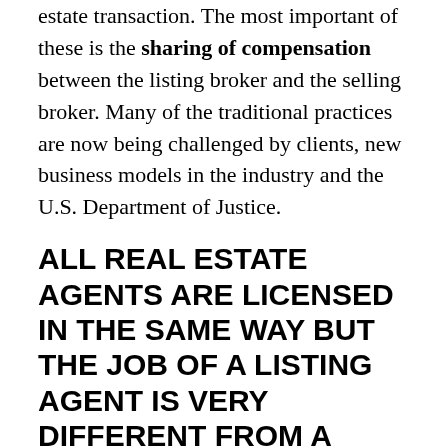estate transaction. The most important of these is the sharing of compensation between the listing broker and the selling broker. Many of the traditional practices are now being challenged by clients, new business models in the industry and the U.S. Department of Justice.
ALL REAL ESTATE AGENTS ARE LICENSED IN THE SAME WAY BUT THE JOB OF A LISTING AGENT IS VERY DIFFERENT FROM A BUYER AGENT.
A listing agent is more of a marketing director than a salesperson and may never even meet the buyer until she passes the keys to the new owner at the closing